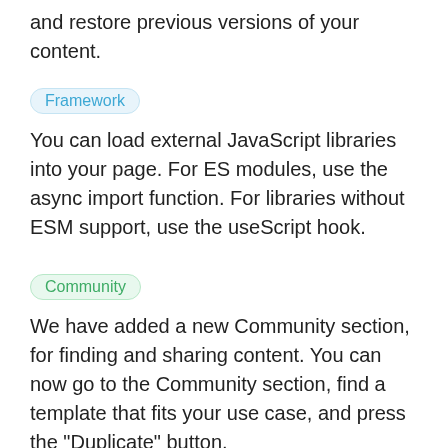and restore previous versions of your content.
Framework
You can load external JavaScript libraries into your page. For ES modules, use the async import function. For libraries without ESM support, use the useScript hook.
Community
We have added a new Community section, for finding and sharing content. You can now go to the Community section, find a template that fits your use case, and press the "Duplicate" button.
Editor